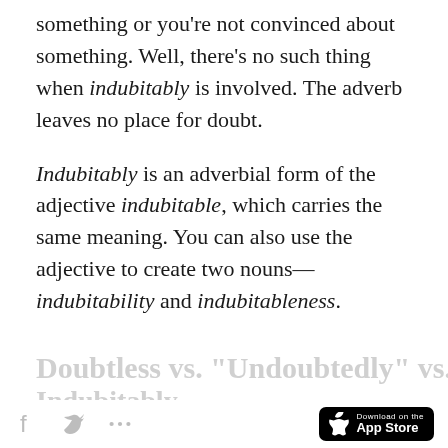something or you're not convinced about something. Well, there's no such thing when indubitably is involved. The adverb leaves no place for doubt.
Indubitably is an adverbial form of the adjective indubitable, which carries the same meaning. You can also use the adjective to create two nouns—indubitability and indubitableness.
Doubtless vs. "Undoubtedly" vs. Indubitably [social share icons] [Download on the App Store]